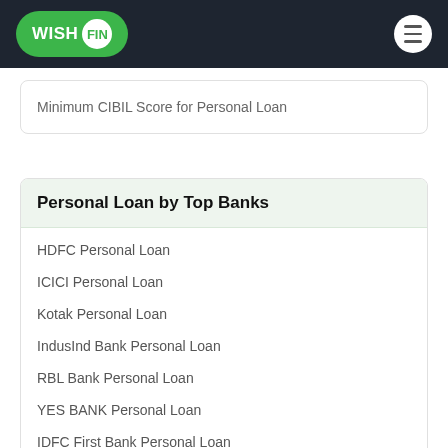WISHFIN
Minimum CIBIL Score for Personal Loan
Personal Loan by Top Banks
HDFC Personal Loan
ICICI Personal Loan
Kotak Personal Loan
IndusInd Bank Personal Loan
RBL Bank Personal Loan
YES BANK Personal Loan
IDFC First Bank Personal Loan
Tata Capital Personal Loan